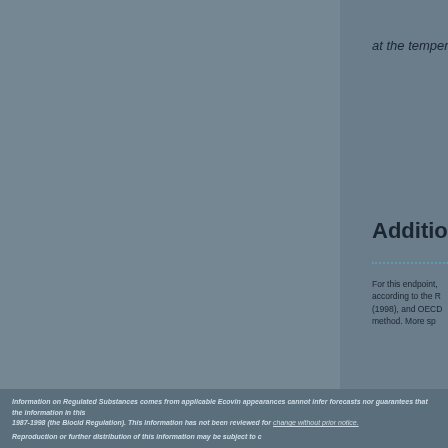at the temperature
Additional in
For this endpoint, according to the R (1998), and OECD method. More sp
The repeat dose fix at 90°C.
Information on Regulated Substances comes from applicable Ecovin appearances cannot infer forecasts nor guarantees that the information in this 1987-1998 (the Biocid Regulation). This information has not been reviewed for change without prior notice. Reproduction or further distribution of this information may be subject to c